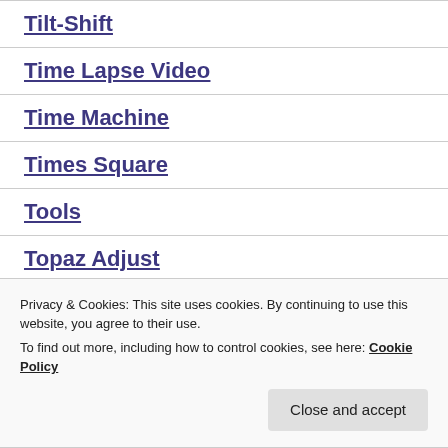Tilt-Shift
Time Lapse Video
Time Machine
Times Square
Tools
Topaz Adjust
Privacy & Cookies: This site uses cookies. By continuing to use this website, you agree to their use.
To find out more, including how to control cookies, see here: Cookie Policy
Close and accept